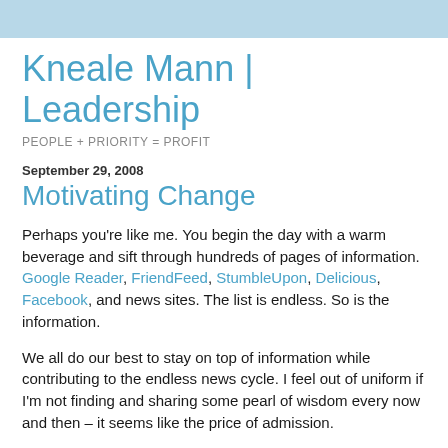Kneale Mann | Leadership
PEOPLE + PRIORITY = PROFIT
September 29, 2008
Motivating Change
Perhaps you’re like me. You begin the day with a warm beverage and sift through hundreds of pages of information. Google Reader, FriendFeed, StumbleUpon, Delicious, Facebook, and news sites. The list is endless. So is the information.
We all do our best to stay on top of information while contributing to the endless news cycle. I feel out of uniform if I’m not finding and sharing some pearl of wisdom every now and then – it seems like the price of admission.
We are all talking about the financial situation these days but